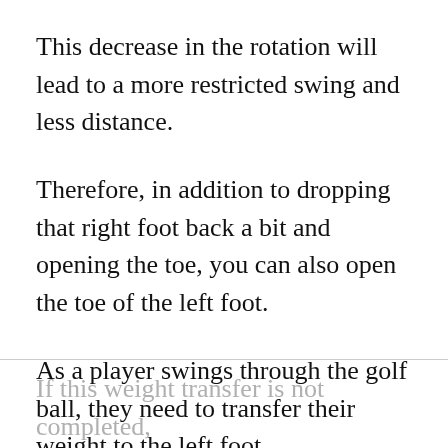This decrease in the rotation will lead to a more restricted swing and less distance.
Therefore, in addition to dropping that right foot back a bit and opening the toe, you can also open the toe of the left foot.
As a player swings through the golf ball, they need to transfer their weight to the left foot.
If this weight transfer is not completed, the ball is more likely to go in a to the…